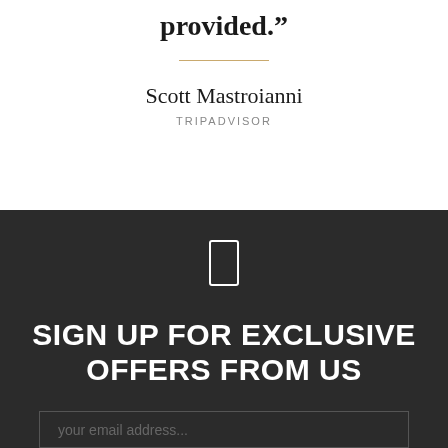provided."
Scott Mastroianni
TRIPADVISOR
SIGN UP FOR EXCLUSIVE OFFERS FROM US
your email address...